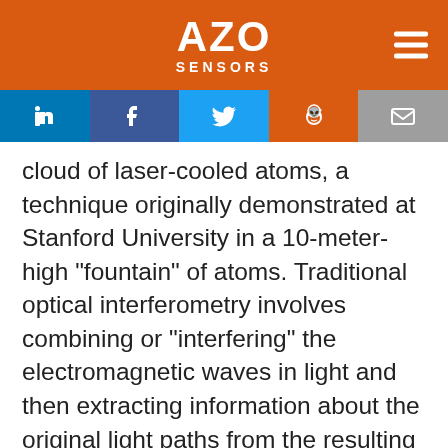AZO SENSORS
cloud of laser-cooled atoms, a technique originally demonstrated at Stanford University in a 10-meter-high “fountain” of atoms. Traditional optical interferometry involves combining or “interfering” the electromagnetic waves in light and then extracting information about the original light paths from the resulting wave patterns. Similarly, atom
We use cookies to enhance your experience. By continuing to browse this site you agree to our use of cookies. More info. Accept Cookie Settings